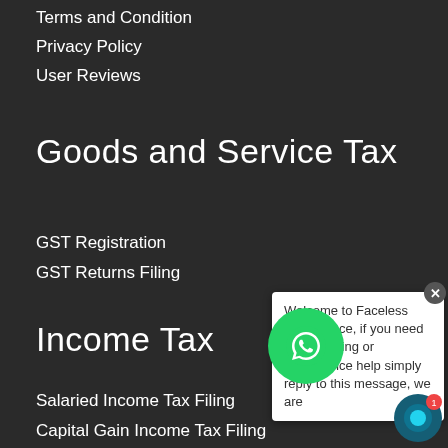Terms and Condition
Privacy Policy
User Reviews
Goods and Service Tax
GST Registration
GST Returns Filing
Income Tax
Salaried Income Tax Filing
Capital Gain Income Tax Filing
Business & Profession Income Tax Filing
Welcome to Faceless Compliance, if you need any Tax filing or Compliance help simply reply to this message, we are
[Figure (other): WhatsApp chat button - green circle with WhatsApp logo]
[Figure (other): Chat support circle icon bottom right with notification badge showing 1]